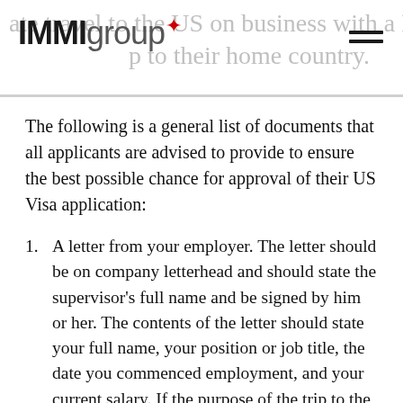IMMLgroup [logo with maple leaf]
The following is a general list of documents that all applicants are advised to provide to ensure the best possible chance for approval of their US Visa application:
A letter from your employer. The letter should be on company letterhead and should state the supervisor's full name and be signed by him or her. The contents of the letter should state your full name, your position or job title, the date you commenced employment, and your current salary. If the purpose of the trip to the U.S. is in connection with your place of work, the letter should mention the trip details and also that your company (in Canada) will cover all expenses for the trip. The letter should finally state the contact details of the